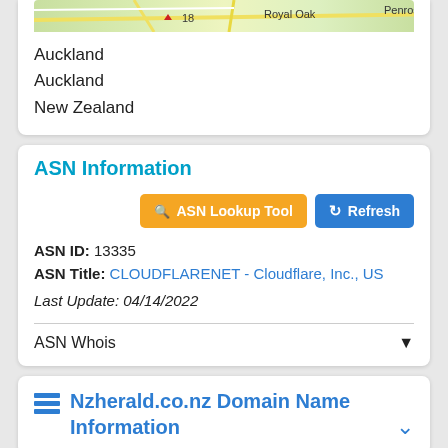[Figure (map): Partial map showing Royal Oak and Penrose area labels with number 18 visible]
Auckland
Auckland
New Zealand
ASN Information
ASN Lookup Tool   Refresh
ASN ID: 13335
ASN Title: CLOUDFLARENET - Cloudflare, Inc., US
Last Update: 04/14/2022
ASN Whois
Nzherald.co.nz Domain Name Information